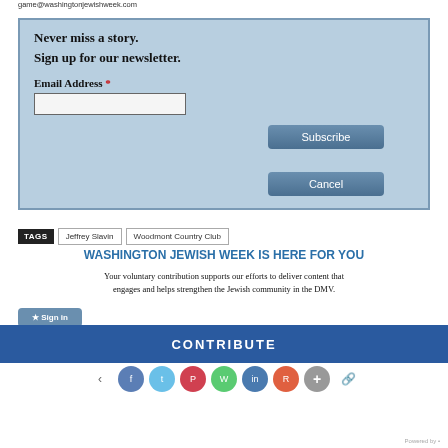game@washingtonjewishweek.com
Never miss a story.
Sign up for our newsletter.
Email Address *
[Figure (screenshot): Newsletter signup form with email input field, Subscribe button, and Cancel button on a light blue background]
TAGS   Jeffrey Slavin   Woodmont Country Club
WASHINGTON JEWISH WEEK IS HERE FOR YOU
Your voluntary contribution supports our efforts to deliver content that engages and helps strengthen the Jewish community in the DMV.
Sign in
CONTRIBUTE